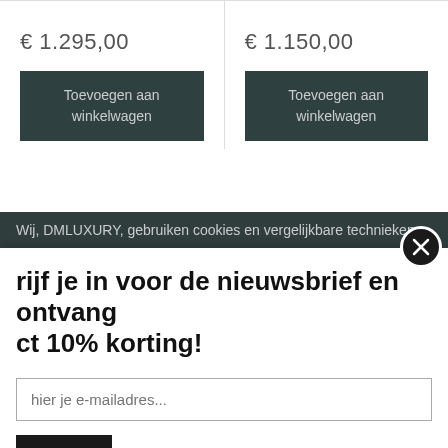€ 1.295,00
€ 1.150,00
Toevoegen aan winkelwagen
Toevoegen aan winkelwagen
Wij, DMLUXURY, gebruiken cookies en vergelijkbare technieken.
rijf je in voor de nieuwsbrief en ontvang ct 10% korting!
hier je e-mailadres...
hrijven